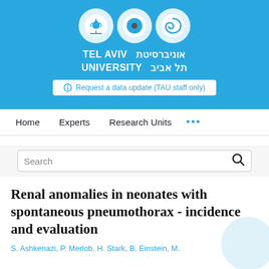[Figure (logo): Tel Aviv University logo with three circles and bilingual text in English and Hebrew on a blue background]
Request a data update (TAU staff only)
Home   Experts   Research Units   ...
Search
Renal anomalies in neonates with spontaneous pneumothorax - incidence and evaluation
S. Ashkenazi, P. Merlob, H. Stark, B. Einstein, M.